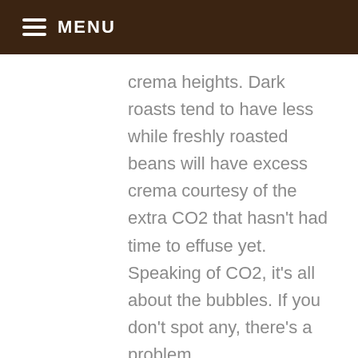MENU
crema heights. Dark roasts tend to have less while freshly roasted beans will have excess crema courtesy of the extra CO2 that hasn't had time to effuse yet. Speaking of CO2, it's all about the bubbles. If you don't spot any, there's a problem.

In summary, your crema should absolutely not look like this: